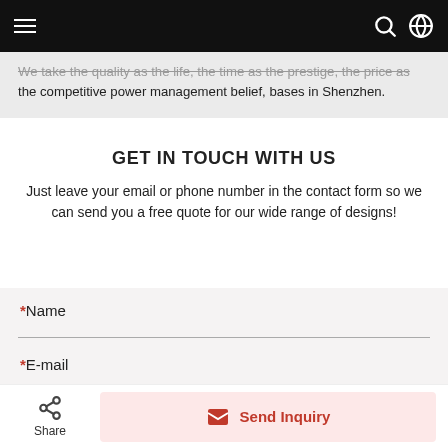Navigation bar with hamburger menu, search icon, and globe icon
We take the quality as the life, the time as the prestige, the price as the competitive power management belief, bases in Shenzhen.
GET IN TOUCH WITH US
Just leave your email or phone number in the contact form so we can send you a free quote for our wide range of designs!
*Name
*E-mail
Share | Send Inquiry